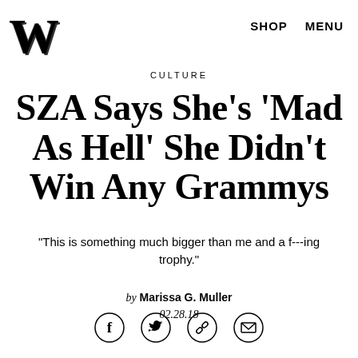W  SHOP  MENU
CULTURE
SZA Says She’s ‘Mad As Hell’ She Didn’t Win Any Grammys
"This is something much bigger than me and a f---ing trophy."
by Marissa G. Muller 02.28.18
[Figure (other): Row of four social sharing icons in circles: Facebook, Twitter, link/chain, envelope/email]